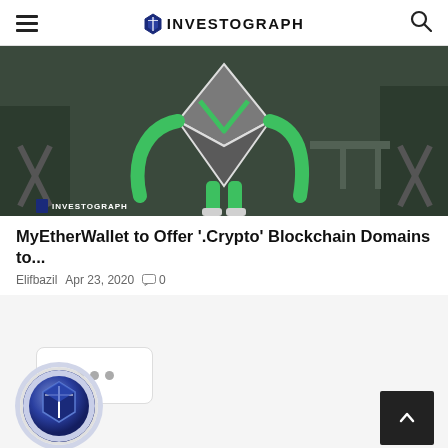INVESTOGRAPH
[Figure (photo): Illustration of an Ethereum logo character (green and grey robot-like figure) standing in an office/room environment with green accents. Investograph watermark visible at bottom left.]
MyEtherWallet to Offer '.Crypto' Blockchain Domains to...
Elifbazil  Apr 23, 2020  💬 0
[Figure (other): Loading chat bubble with three grey dots, and Investograph circular avatar logo below it.]